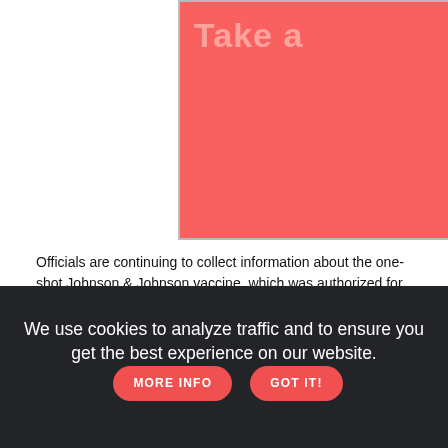[Figure (illustration): Red/salmon colored banner image with large partially visible text 'Take a' in light color, and a Denver 'The Mile High City' logo in the lower right corner]
Officials are continuing to collect information about the one-shot Johnson & Johnson vaccine, which was authorized for use in the U.S. in late February, to determine when to recommend boosters.
WHO WOULD GET THEM?
The first people vaccinated in the United States would likely be first in line for boosters too. That means health care workers, nursing...
We use cookies to analyze traffic and to ensure you get the best experience on our website.